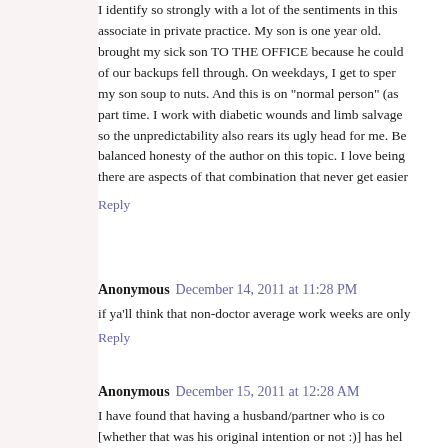I identify so strongly with a lot of the sentiments in this associate in private practice. My son is one year old. brought my sick son TO THE OFFICE because he could of our backups fell through. On weekdays, I get to sper my son soup to nuts. And this is on "normal person" (as part time. I work with diabetic wounds and limb salvage so the unpredictability also rears its ugly head for me. Be balanced honesty of the author on this topic. I love being there are aspects of that combination that never get easier
Reply
Anonymous December 14, 2011 at 11:28 PM
if ya'll think that non-doctor average work weeks are only
Reply
Anonymous December 15, 2011 at 12:28 AM
I have found that having a husband/partner who is co [whether that was his original intention or not :)] has hel feel less divided, he and our daughter have a great bond